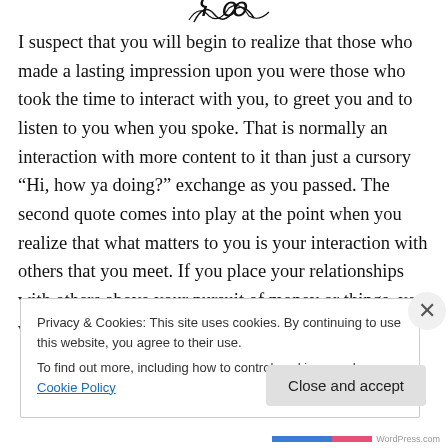[Figure (illustration): Decorative cursive/calligraphic design element at the top of the page]
I suspect that you will begin to realize that those who made a lasting impression upon you were those who took the time to interact with you, to greet you and to listen to you when you spoke. That is normally an interaction with more content to it than just a cursory “Hi, how ya doing?” exchange as you passed. The second quote comes into play at the point when you realize that what matters to you is your interaction with others that you meet. If you place your relationships with others above your pursuit of money or things, you will find that you matter to them, too
Privacy & Cookies: This site uses cookies. By continuing to use this website, you agree to their use.
To find out more, including how to control cookies, see here: Cookie Policy